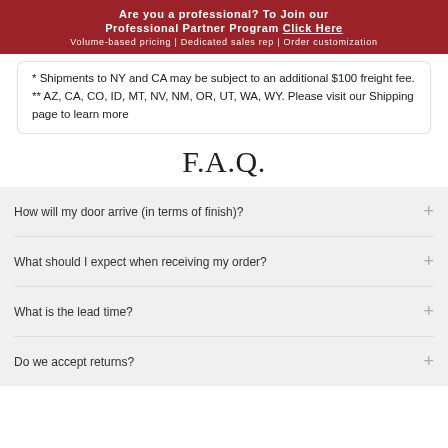Are you a professional? To Join our Professional Partner Program Click Here
Volume-based pricing | Dedicated sales rep | Order customization
* Shipments to NY and CA may be subject to an additional $100 freight fee.
** AZ, CA, CO, ID, MT, NV, NM, OR, UT, WA, WY. Please visit our Shipping page to learn more
F.A.Q.
How will my door arrive (in terms of finish)?
What should I expect when receiving my order?
What is the lead time?
Do we accept returns?